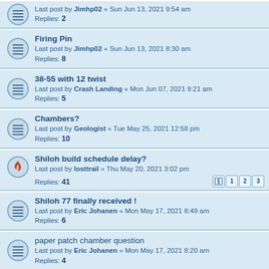Last post by Jimhp02 « Sun Jun 13, 2021 9:54 am
Replies: 2
Firing Pin
Last post by Jimhp02 « Sun Jun 13, 2021 8:30 am
Replies: 8
38-55 with 12 twist
Last post by Crash Landing « Mon Jun 07, 2021 9:21 am
Replies: 5
Chambers?
Last post by Geologist « Tue May 25, 2021 12:58 pm
Replies: 10
Shiloh build schedule delay?
Last post by losttrail « Thu May 20, 2021 3:02 pm
Replies: 41
Shiloh 77 finally received !
Last post by Eric Johanen « Mon May 17, 2021 8:49 am
Replies: 6
paper patch chamber question
Last post by Eric Johanen « Mon May 17, 2021 8:20 am
Replies: 4
Lead Time?
Last post by Lumpy Grits « Wed May 12, 2021 3:17 pm
Replies: 11
Bertram .40-70 SS brass
Last post by kenny sd « Tue Apr 06, 2021 12:19 pm
Replies: 10
Rifle Pickup?